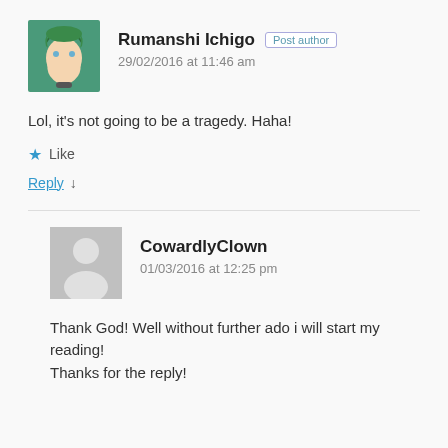[Figure (illustration): Anime-style avatar of Rumanshi Ichigo with green hair]
Rumanshi Ichigo Post author
29/02/2016 at 11:46 am
Lol, it's not going to be a tragedy. Haha!
★ Like
Reply ↓
[Figure (illustration): Generic grey avatar placeholder silhouette for CowardlyClown]
CowardlyClown
01/03/2016 at 12:25 pm
Thank God! Well without further ado i will start my reading! Thanks for the reply!